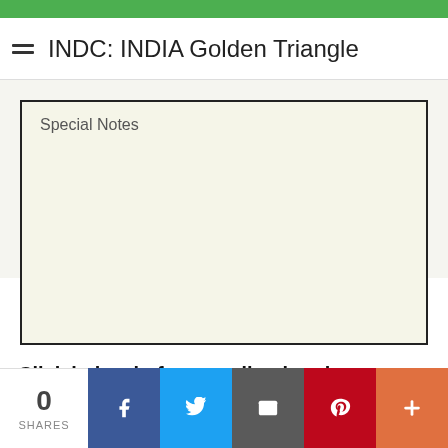INDC: INDIA Golden Triangle
Special Notes
Click below before sending inquiry message.
0 SHARES